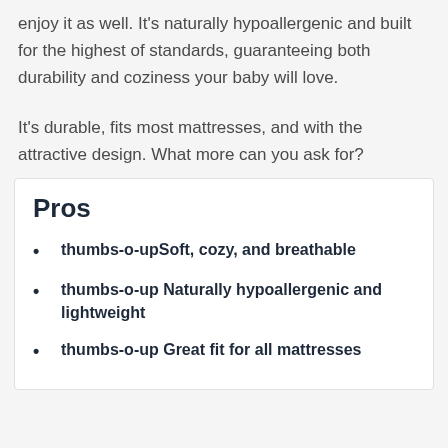enjoy it as well. It's naturally hypoallergenic and built for the highest of standards, guaranteeing both durability and coziness your baby will love.
It's durable, fits most mattresses, and with the attractive design. What more can you ask for?
Pros
thumbs-o-upSoft, cozy, and breathable
thumbs-o-up Naturally hypoallergenic and lightweight
thumbs-o-up Great fit for all mattresses